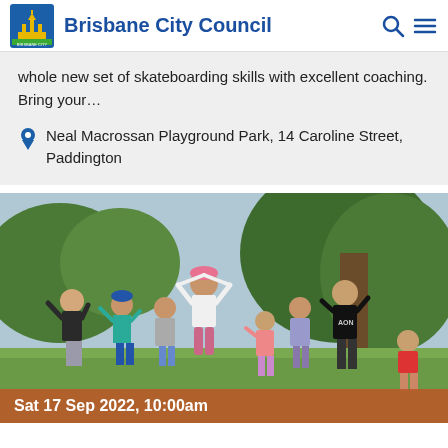Brisbane City Council
whole new set of skateboarding skills with excellent coaching. Bring your…
Neal Macrossan Playground Park, 14 Caroline Street, Paddington
[Figure (photo): Children jumping and playing outdoors in a park, with trees in the background. Date overlay reads: Sat 17 Sep 2022, 10:00am]
Sat 17 Sep 2022, 10:00am